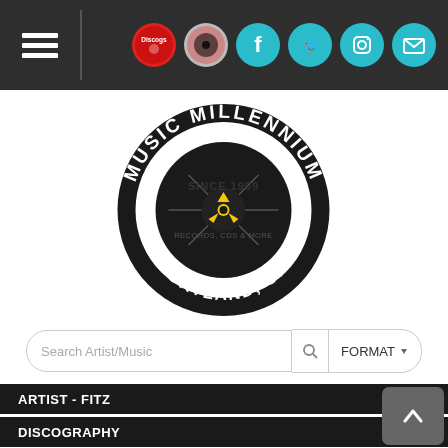Music Millennium header with hamburger menu, Discogs, Bandcamp, Facebook, Twitter, Instagram, Email icons
[Figure (logo): Music Millennium circular logo — black circle with text MUSIC MILLENNIUM arched top, PORTLAND, OR arched bottom, SINCE 1969 in center, RECORDS, CDS & MORE below center, vinyl record with yellow 45rpm adapter in middle]
Search Artist/Music  FORMAT
ARTIST - FITZ
DISCOGRAPHY
Fitz and The Tantrums